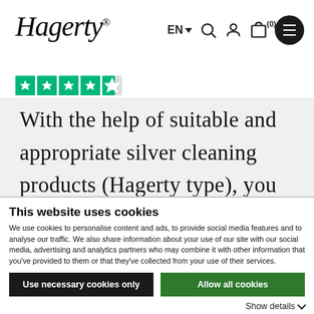Hagerty® EN (0)
With the help of suitable and appropriate silver cleaning products (Hagerty type), you can give all your silver and silver-plated objects a new
This website uses cookies
We use cookies to personalise content and ads, to provide social media features and to analyse our traffic. We also share information about your use of our site with our social media, advertising and analytics partners who may combine it with other information that you've provided to them or that they've collected from your use of their services.
Use necessary cookies only
Allow all cookies
Show details